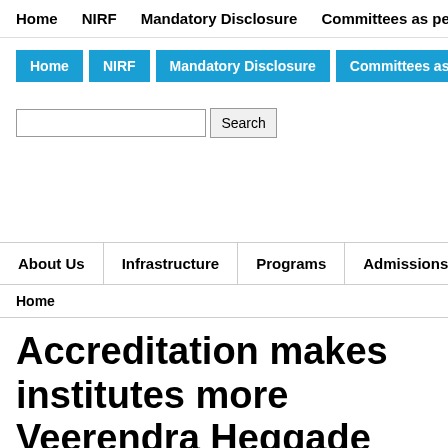Home   NIRF   Mandatory Disclosure   Committees as per AICTE nor…
Home   NIRF   Mandatory Disclosure   Committees as per AICTE norm…
Search
About Us   Infrastructure   Programs   Admissions   Faculty…
Home
Accreditation makes institutes more… Veerendra Heggade